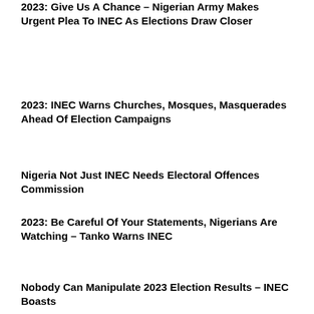2023: Give Us A Chance – Nigerian Army Makes Urgent Plea To INEC As Elections Draw Closer
2023: INEC Warns Churches, Mosques, Masquerades Ahead Of Election Campaigns
Nigeria Not Just INEC Needs Electoral Offences Commission
2023: Be Careful Of Your Statements, Nigerians Are Watching – Tanko Warns INEC
Nobody Can Manipulate 2023 Election Results – INEC Boasts